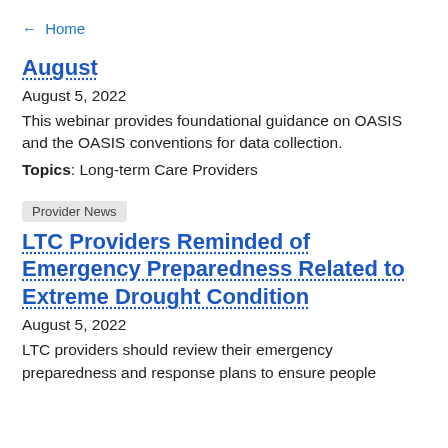← Home
August
August 5, 2022
This webinar provides foundational guidance on OASIS and the OASIS conventions for data collection.
Topics: Long-term Care Providers
Provider News
LTC Providers Reminded of Emergency Preparedness Related to Extreme Drought Condition
August 5, 2022
LTC providers should review their emergency preparedness and response plans to ensure people